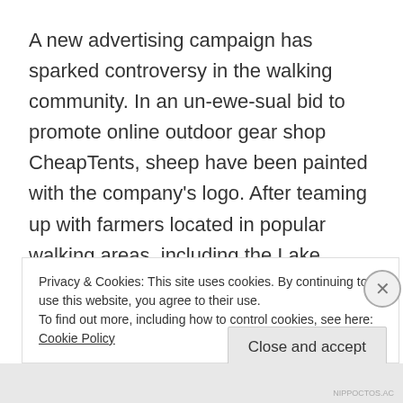A new advertising campaign has sparked controversy in the walking community. In an un-ewe-sual bid to promote online outdoor gear shop CheapTents, sheep have been painted with the company's logo. After teaming up with farmers located in popular walking areas, including the Lake District, the sheep can be seen now be seen on some of …
Continue reading
Privacy & Cookies: This site uses cookies. By continuing to use this website, you agree to their use.
To find out more, including how to control cookies, see here:
Cookie Policy
Close and accept